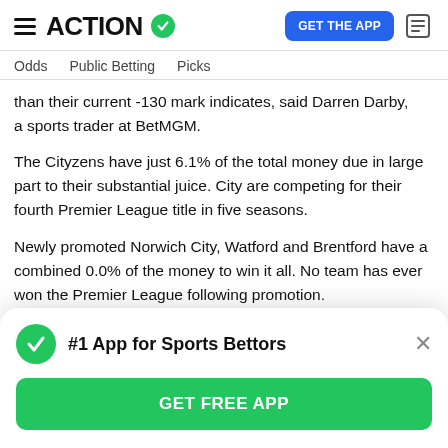ACTION
Odds  Public Betting  Picks
than their current -130 mark indicates, said Darren Darby, a sports trader at BetMGM.
The Cityzens have just 6.1% of the total money due in large part to their substantial juice. City are competing for their fourth Premier League title in five seasons.
Newly promoted Norwich City, Watford and Brentford have a combined 0.0% of the money to win it all. No team has ever won the Premier League following promotion.
In terms of total tickets, Chelsea lead the pack with over
#1 App for Sports Bettors
GET FREE APP